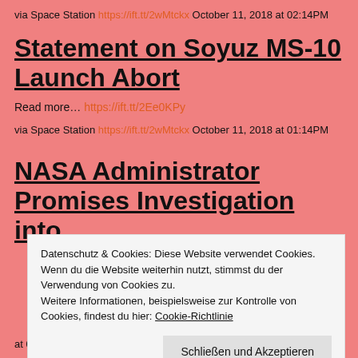via Space Station https://ift.tt/2wMtckx October 11, 2018 at 02:14PM
Statement on Soyuz MS-10 Launch Abort
Read more… https://ift.tt/2Ee0KPy
via Space Station https://ift.tt/2wMtckx October 11, 2018 at 01:14PM
NASA Administrator Promises Investigation into
Datenschutz & Cookies: Diese Website verwendet Cookies. Wenn du die Website weiterhin nutzt, stimmst du der Verwendung von Cookies zu.
Weitere Informationen, beispielsweise zur Kontrolle von Cookies, findest du hier: Cookie-Richtlinie
Schließen und Akzeptieren
at 01:59PM